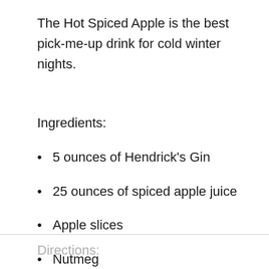The Hot Spiced Apple is the best pick-me-up drink for cold winter nights.
Ingredients:
5 ounces of Hendrick's Gin
25 ounces of spiced apple juice
Apple slices
Nutmeg
Directions: